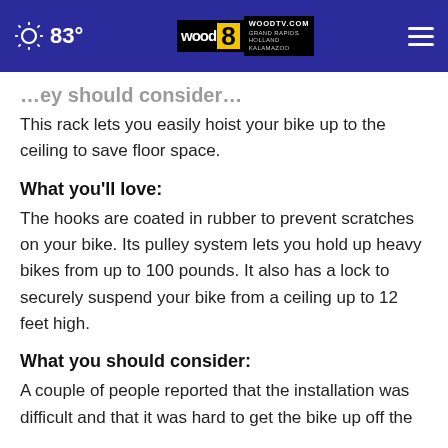83° WOODTV.COM GRAND RAPIDS HOLLAND KALAMAZOO
...ey should consider...
This rack lets you easily hoist your bike up to the ceiling to save floor space.
What you'll love:
The hooks are coated in rubber to prevent scratches on your bike. Its pulley system lets you hold up heavy bikes from up to 100 pounds. It also has a lock to securely suspend your bike from a ceiling up to 12 feet high.
What you should consider:
A couple of people reported that the installation was difficult and that it was hard to get the bike up off the